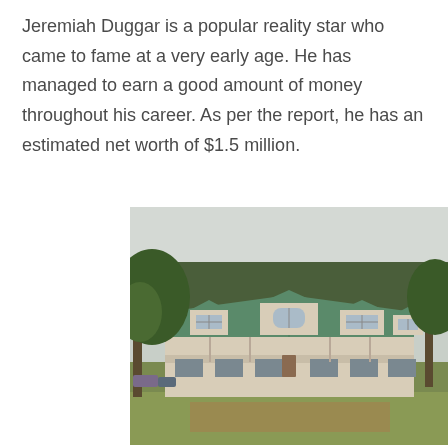Jeremiah Duggar is a popular reality star who came to fame at a very early age. He has managed to earn a good amount of money throughout his career. As per the report, he has an estimated net worth of $1.5 million.
[Figure (photo): A large single-story house with a green metal roof and multiple dormers, surrounded by large trees on a green lawn. The house has a wide front porch and several dormer windows.]